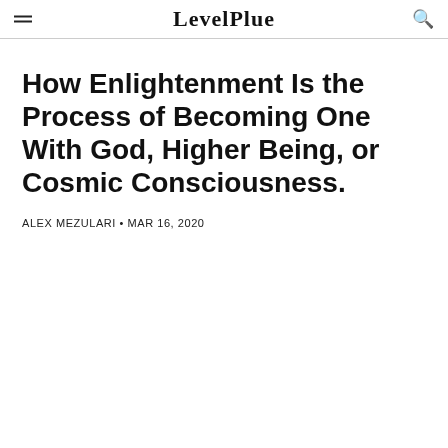Level Plus
How Enlightenment Is the Process of Becoming One With God, Higher Being, or Cosmic Consciousness.
ALEX MEZULARI • MAR 16, 2020